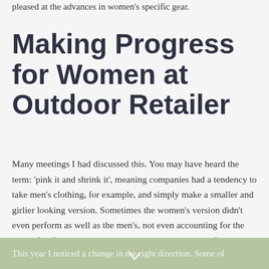pleased at the advances in women's specific gear.
Making Progress for Women at Outdoor Retailer
Many meetings I had discussed this. You may have heard the term: 'pink it and shrink it', meaning companies had a tendency to take men's clothing, for example, and simply make a smaller and girlier looking version. Sometimes the women's version didn't even perform as well as the men's, not even accounting for the actual fit of the garment, which just didn't translate to fit a woman's figure.
This year I noticed a change in the right direction. Some of the companies I met with were featuring women’s